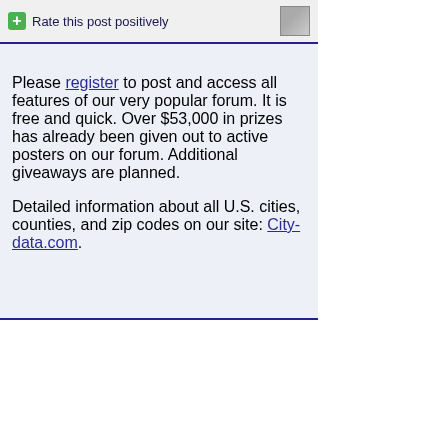Rate this post positively
Please register to post and access all features of our very popular forum. It is free and quick. Over $53,000 in prizes has already been given out to active posters on our forum. Additional giveaways are planned.

Detailed information about all U.S. cities, counties, and zip codes on our site: City-data.com.